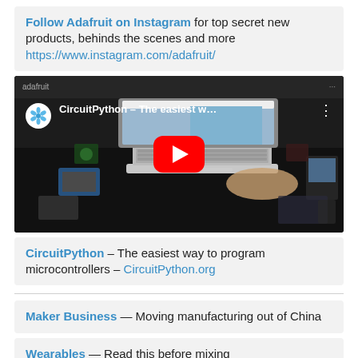Follow Adafruit on Instagram for top secret new products, behinds the scenes and more https://www.instagram.com/adafruit/
[Figure (screenshot): YouTube video thumbnail showing CircuitPython - The easiest w... with Adafruit logo, play button, and a laptop with electronic components on a dark desk]
CircuitPython – The easiest way to program microcontrollers – CircuitPython.org
Maker Business — Moving manufacturing out of China
Wearables — Read this before mixing